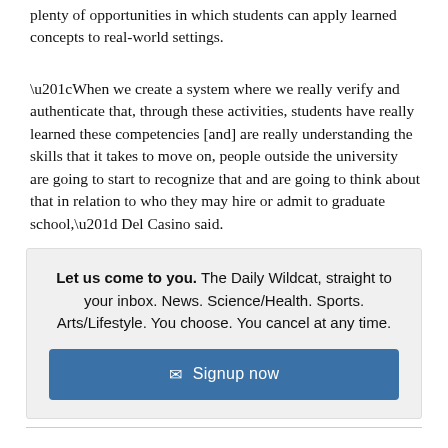plenty of opportunities in which students can apply learned concepts to real-world settings.
“When we create a system where we really verify and authenticate that, through these activities, students have really learned these competencies [and] are really understanding the skills that it takes to move on, people outside the university are going to start to recognize that and are going to think about that in relation to who they may hire or admit to graduate school,” Del Casino said.
Let us come to you. The Daily Wildcat, straight to your inbox. News. Science/Health. Sports. Arts/Lifestyle. You choose. You cancel at any time.
✉ Signup now